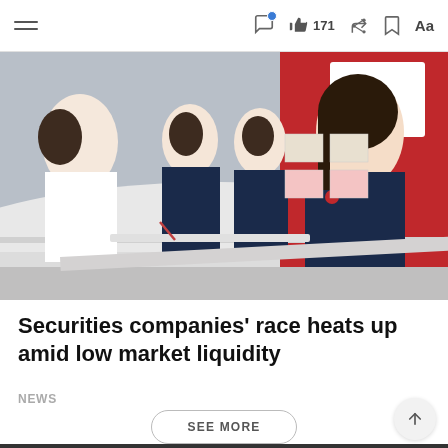Navigation bar with hamburger menu, chat icon, like (171), share, bookmark, and font size (Aa) controls
[Figure (photo): Bank or securities company service counter with several female staff in dark blue uniforms serving customers across a white counter. Red branded background visible. Photo appears to be from an SSI securities office.]
Securities companies' race heats up amid low market liquidity
NEWS
SEE MORE